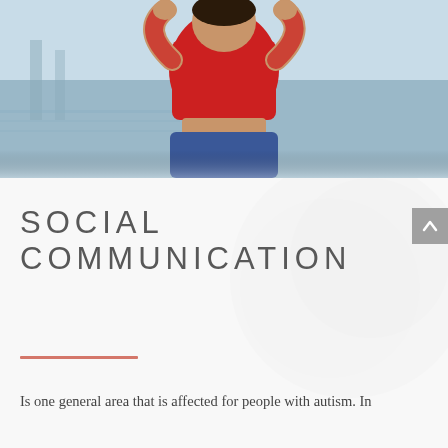[Figure (photo): Photograph of a child with arms raised behind head, wearing a red shirt and blue patterned skirt, standing outdoors near water with a blurred background]
SOCIAL COMMUNICATION
Is one general area that is affected for people with autism. In